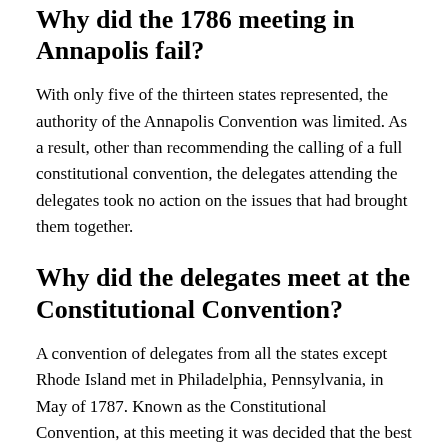Why did the 1786 meeting in Annapolis fail?
With only five of the thirteen states represented, the authority of the Annapolis Convention was limited. As a result, other than recommending the calling of a full constitutional convention, the delegates attending the delegates took no action on the issues that had brought them together.
Why did the delegates meet at the Constitutional Convention?
A convention of delegates from all the states except Rhode Island met in Philadelphia, Pennsylvania, in May of 1787. Known as the Constitutional Convention, at this meeting it was decided that the best solution to the young country's problems was to set aside the Articles of Confederation and write a new constitution.